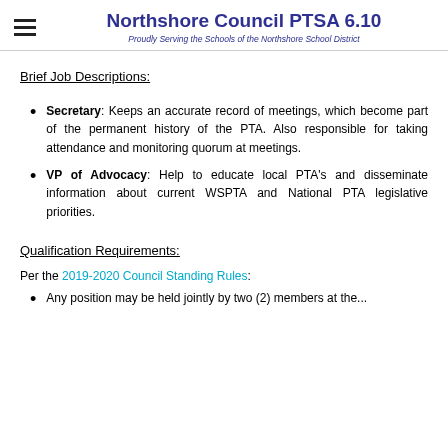Northshore Council PTSA 6.10 — Proudly Serving the Schools of the Northshore School District
Brief Job Descriptions:
Secretary: Keeps an accurate record of meetings, which become part of the permanent history of the PTA. Also responsible for taking attendance and monitoring quorum at meetings.
VP of Advocacy: Help to educate local PTA's and disseminate information about current WSPTA and National PTA legislative priorities.
Qualification Requirements:
Per the 2019-2020 Council Standing Rules:
Any position may be held jointly by two (2) members at the...